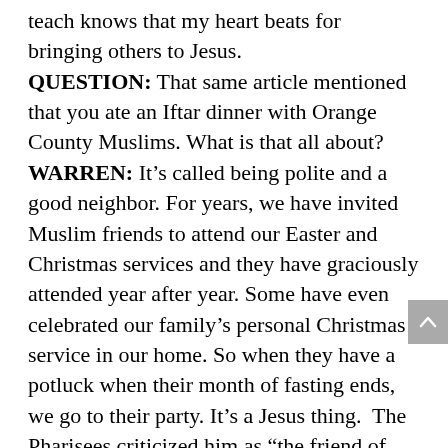teach knows that my heart beats for bringing others to Jesus. QUESTION: That same article mentioned that you ate an Iftar dinner with Orange County Muslims. What is that all about? WARREN: It's called being polite and a good neighbor. For years, we have invited Muslim friends to attend our Easter and Christmas services and they have graciously attended year after year. Some have even celebrated our family's personal Christmas service in our home. So when they have a potluck when their month of fasting ends, we go to their party. It's a Jesus thing.  The Pharisees criticized him as "the friend of sinners" because Jesus ate dinner with people they disapproved of. By